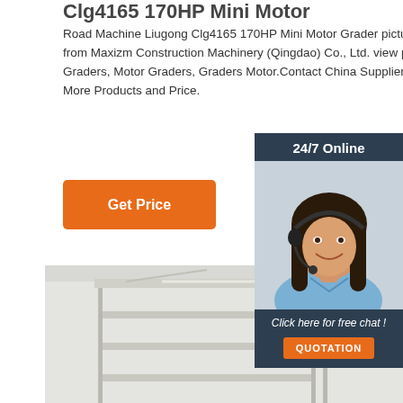Clg4165 170HP Mini Motor
Road Machine Liugong Clg4165 170HP Mini Motor Grader picture from Maxizm Construction Machinery (Qingdao) Co., Ltd. view photo of Graders, Motor Graders, Graders Motor.Contact China Suppliers for More Products and Price.
[Figure (other): Orange 'Get Price' button]
[Figure (photo): 24/7 Online chat widget with a woman wearing a headset smiling, and a 'Click here for free chat!' message with a QUOTATION orange button below]
[Figure (photo): Rendering of glass shelving display units in a white showroom setting]